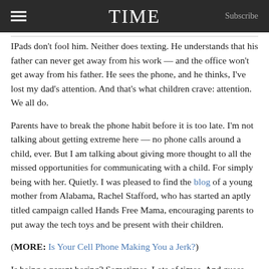TIME  Subscribe
IPads don't fool him. Neither does texting. He understands that his father can never get away from his work — and the office won't get away from his father. He sees the phone, and he thinks, I've lost my dad's attention. And that's what children crave: attention. We all do.
Parents have to break the phone habit before it is too late. I'm not talking about getting extreme here — no phone calls around a child, ever. But I am talking about giving more thought to all the missed opportunities for communicating with a child. For simply being with her. Quietly. I was pleased to find the blog of a young mother from Alabama, Rachel Stafford, who has started an aptly titled campaign called Hands Free Mama, encouraging parents to put away the tech toys and be present with their children.
(MORE: Is Your Cell Phone Making You a Jerk?)
Is being a parent boring? Sometimes. Lots of times. And guess what. Those boring moments are what you will miss the most once your children are